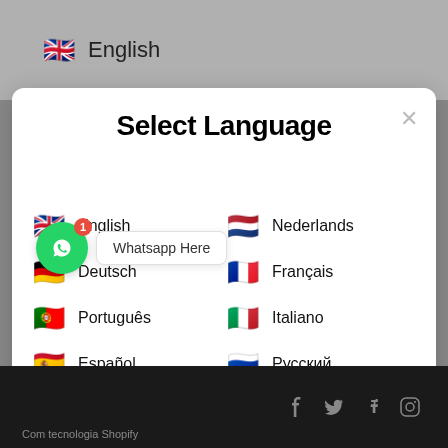[Figure (screenshot): Language selector modal on a website with flag icons and language names in two columns, over a gray background with a black footer bar. WhatsApp button visible. Top bar shows English flag and text.]
English
Select Language
Whatsapp Here
English
Deutsch
Português
Español
Nederlands
Français
Italiano
Русский
Türkçe
Com tecnologia Shopify